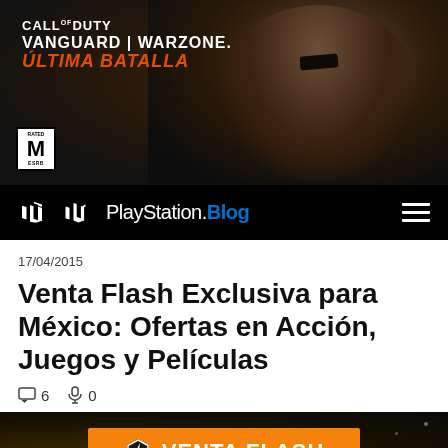[Figure (photo): Call of Duty Vanguard Warzone banner showing a rugged male character with an eyepatch, text reads CALL OF DUTY VANGUARD WARZONE ÚLTIMA BATALLA, with ESRB M rating in bottom left]
[Figure (logo): PlayStation Blog navigation bar with PlayStation logo and Blog text in blue, hamburger menu on right]
17/04/2015
Venta Flash Exclusiva para México: Ofertas en Acción, Juegos y Películas
6   0
[Figure (infographic): Dark background banner with orange Venta Flash button with lightning bolt hexagon icon]